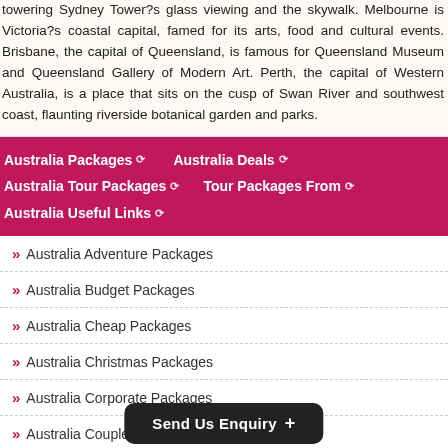towering Sydney Tower?s glass viewing and the skywalk. Melbourne is Victoria?s coastal capital, famed for its arts, food and cultural events. Brisbane, the capital of Queensland, is famous for Queensland Museum and Queensland Gallery of Modern Art. Perth, the capital of Western Australia, is a place that sits on the cusp of Swan River and southwest coast, flaunting riverside botanical garden and parks.
Australia Packages ∨   Australia Deals ∨   Australia Tour Packages ∨   Tour Packages From ∨   Australia Useful Links ∨
» Australia Adventure Packages
» Australia Budget Packages
» Australia Cheap Packages
» Australia Christmas Packages
» Australia Corporate Packages
» Australia Couple Packages
Send Us Enquiry +